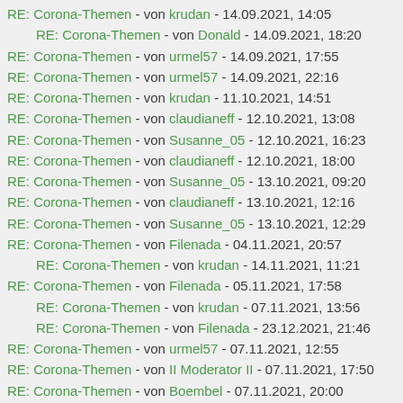RE: Corona-Themen - von krudan - 14.09.2021, 14:05
RE: Corona-Themen - von Donald - 14.09.2021, 18:20
RE: Corona-Themen - von urmel57 - 14.09.2021, 17:55
RE: Corona-Themen - von urmel57 - 14.09.2021, 22:16
RE: Corona-Themen - von krudan - 11.10.2021, 14:51
RE: Corona-Themen - von claudianeff - 12.10.2021, 13:08
RE: Corona-Themen - von Susanne_05 - 12.10.2021, 16:23
RE: Corona-Themen - von claudianeff - 12.10.2021, 18:00
RE: Corona-Themen - von Susanne_05 - 13.10.2021, 09:20
RE: Corona-Themen - von claudianeff - 13.10.2021, 12:16
RE: Corona-Themen - von Susanne_05 - 13.10.2021, 12:29
RE: Corona-Themen - von Filenada - 04.11.2021, 20:57
RE: Corona-Themen - von krudan - 14.11.2021, 11:21
RE: Corona-Themen - von Filenada - 05.11.2021, 17:58
RE: Corona-Themen - von krudan - 07.11.2021, 13:56
RE: Corona-Themen - von Filenada - 23.12.2021, 21:46
RE: Corona-Themen - von urmel57 - 07.11.2021, 12:55
RE: Corona-Themen - von II Moderator II - 07.11.2021, 17:50
RE: Corona-Themen - von Boembel - 07.11.2021, 20:00
RE: Corona-Themen - von Filenada - 07.11.2021, 20:38
RE: Corona-Themen - von krudan - 08.11.2021, 10:55
RE: Corona-Themen - von Filenada - 08.11.2021, 23:16
RE: Corona-Themen - von krudan - 09.11.2021, 00:34
RE: Corona-Themen - von Filenada - 11.11.2021, 21:31